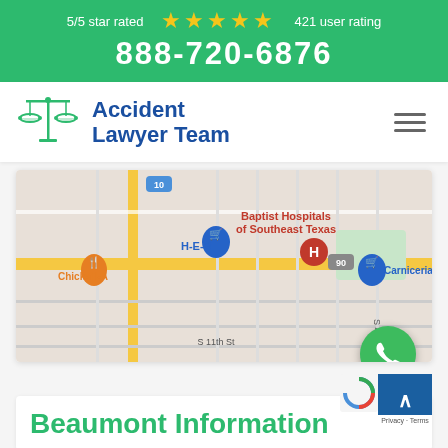5/5 star rated ★★★★★ 421 user rating
888-720-6876
[Figure (logo): Accident Lawyer Team logo with scales of justice icon]
[Figure (map): Google Maps view showing Beaumont TX area with Baptist Hospitals of Southeast Texas, H-E-B, Chick-fil-A, Carniceria markers and roads including route 90 and S 11th St]
Beaumont Information